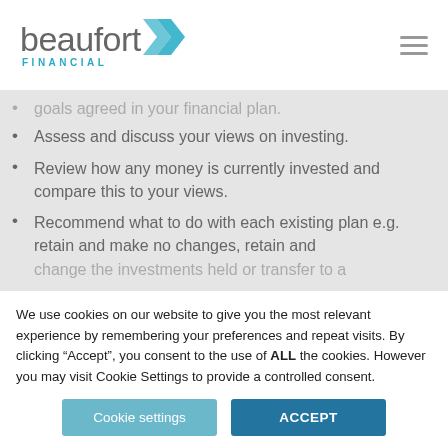Beaufort Financial
goals agreed in your financial plan.
Assess and discuss your views on investing.
Review how any money is currently invested and compare this to your views.
Recommend what to do with each existing plan e.g. retain and make no changes, retain and change the investments held or transfer to a
We use cookies on our website to give you the most relevant experience by remembering your preferences and repeat visits. By clicking “Accept”, you consent to the use of ALL the cookies. However you may visit Cookie Settings to provide a controlled consent.